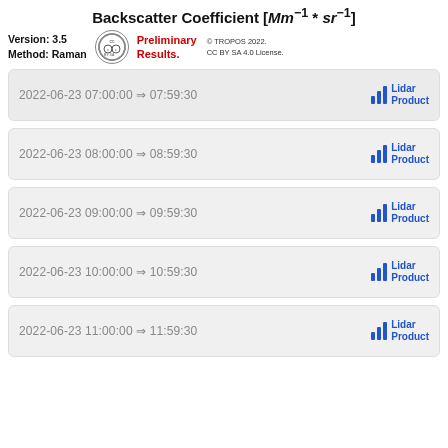Backscatter Coefficient [Mm⁻¹ * sr⁻¹]
Version: 3.5  Method: Raman  [CC license badge]  Preliminary Results.  © TROPOS 2022. CC BY SA 4.0 License.
2022-06-23 07:00:00 ⇒ 07:59:30  Lidar Product
2022-06-23 08:00:00 ⇒ 08:59:30  Lidar Product
2022-06-23 09:00:00 ⇒ 09:59:30  Lidar Product
2022-06-23 10:00:00 ⇒ 10:59:30  Lidar Product
2022-06-23 11:00:00 ⇒ 11:59:30  Lidar Product